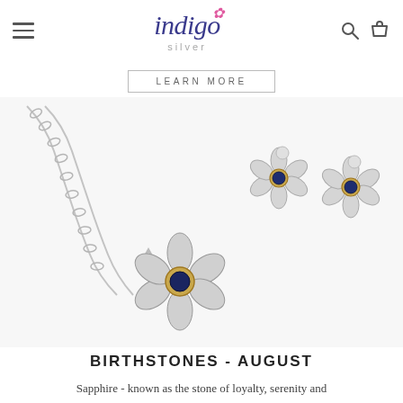indigo silver — navigation header with hamburger menu, logo, search and cart icons
LEARN MORE
[Figure (photo): Silver flower jewelry set with blue sapphire gemstone centers and gold bezels — one necklace pendant on a chain and two stud earrings on a white background]
BIRTHSTONES - AUGUST
Sapphire - known as the stone of loyalty, serenity and